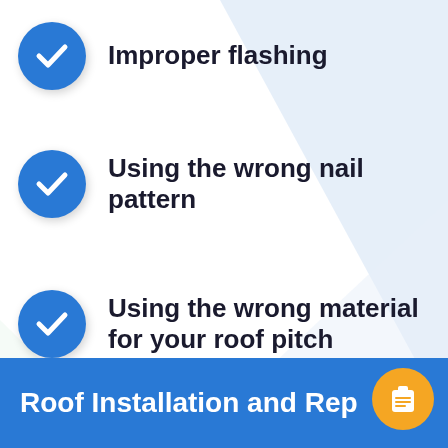Improper flashing
Using the wrong nail pattern
Using the wrong material for your roof pitch
Roof Installation and Rep